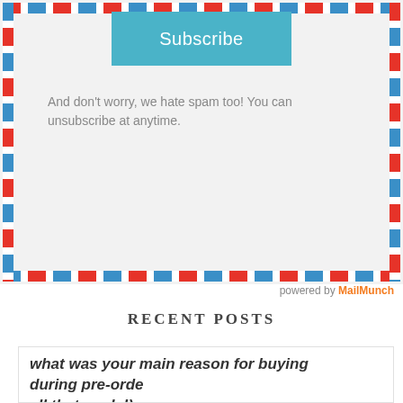[Figure (screenshot): Subscribe button (teal/blue) at top of email subscription widget with airmail border styling]
And don't worry, we hate spam too! You can unsubscribe at anytime.
powered by MailMunch
RECENT POSTS
what was your main reason for buying during pre-order (check all that apply!)
[Figure (bar-chart): Horizontal bar chart showing two bars: 'I wanted to support the...' (long green bar) and 'I like being the first to...' (shorter blue bar). Partially visible, more bars likely below.]
Privacy & Cookies Policy